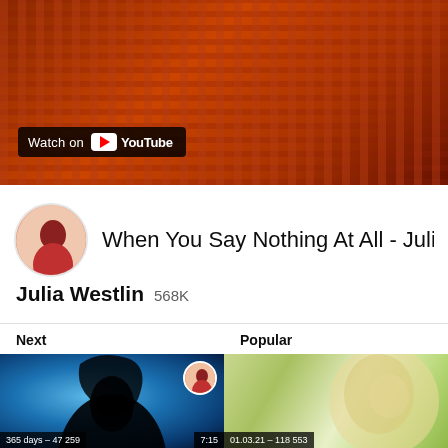[Figure (screenshot): YouTube video thumbnail showing a red patterned rug background with a 'Watch on YouTube' overlay badge]
When You Say Nothing At All - Julia &
Julia Westlin  568K
Next
Popular
[Figure (screenshot): Video thumbnail for 'Rising Star - Julia Westlin (Official)' showing silhouette of woman in blue light. Duration 7:15. Stats: 365 days – 47 259]
[Figure (screenshot): Video thumbnail for 'Won't Let You Down' showing blonde woman in nature. Stats: 01.03.21 – 118 553]
Rising Star - Julia Westlin (Official
Won't Let You Down